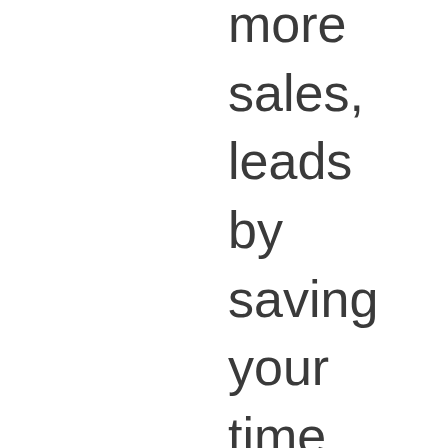more sales, leads by saving your time, energy and hard earned money.

We all know that